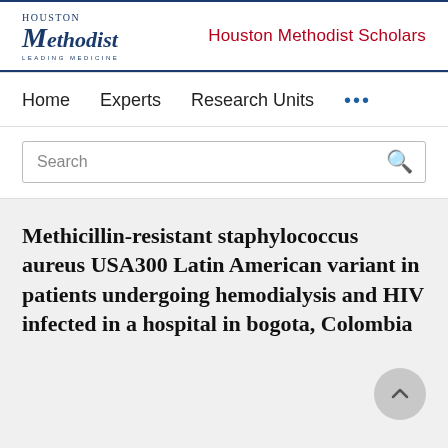Houston Methodist Scholars
Home   Experts   Research Units   ...
Methicillin-resistant staphylococcus aureus USA300 Latin American variant in patients undergoing hemodialysis and HIV infected in a hospital in bogota, Colombia